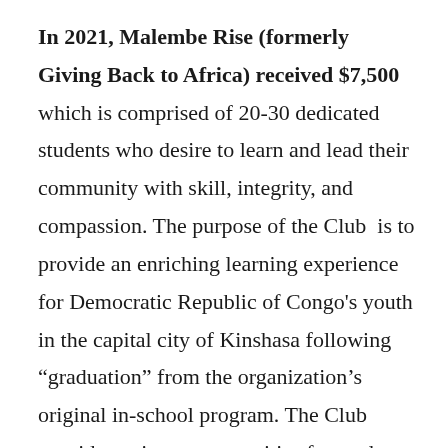In 2021, Malembe Rise (formerly Giving Back to Africa) received $7,500 which is comprised of 20-30 dedicated students who desire to learn and lead their community with skill, integrity, and compassion. The purpose of the Club is to provide an enriching learning experience for Democratic Republic of Congo's youth in the capital city of Kinshasa following “graduation” from the organization’s original in-school program. The Club provides unique opportunities for students to learn, lead, and serve in their school,